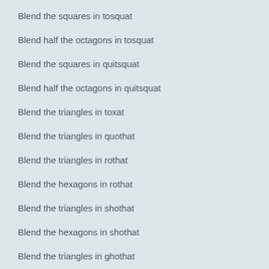Blend the squares in tosquat
Blend half the octagons in tosquat
Blend the squares in quitsquat
Blend half the octagons in quitsquat
Blend the triangles in toxat
Blend the triangles in quothat
Blend the triangles in rothat
Blend the hexagons in rothat
Blend the triangles in shothat
Blend the hexagons in shothat
Blend the triangles in ghothat
Blend the hexagons in ghothat
Blend the triangles in grothat